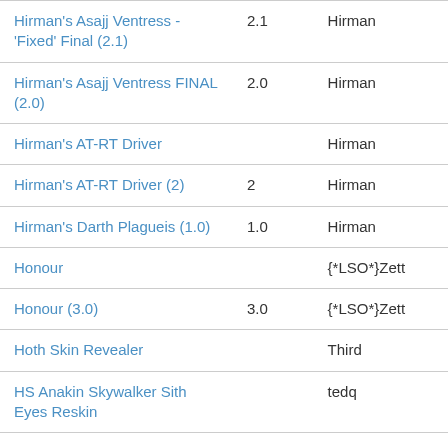| Hirman's Asajj Ventress - 'Fixed' Final (2.1) | 2.1 | Hirman |
| Hirman's Asajj Ventress FINAL (2.0) | 2.0 | Hirman |
| Hirman's AT-RT Driver |  | Hirman |
| Hirman's AT-RT Driver (2) | 2 | Hirman |
| Hirman's Darth Plagueis (1.0) | 1.0 | Hirman |
| Honour |  | {*LSO*}Zett |
| Honour (3.0) | 3.0 | {*LSO*}Zett |
| Hoth Skin Revealer |  | Third |
| HS Anakin Skywalker Sith Eyes Reskin |  | tedq |